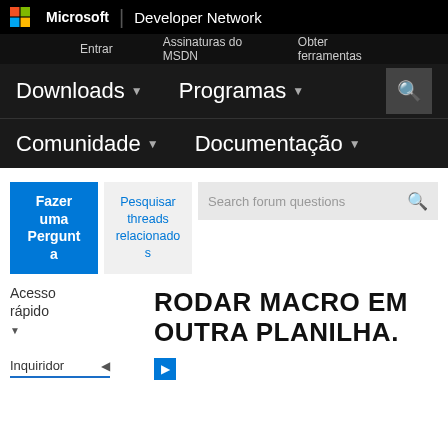Microsoft | Developer Network
Entrar   Assinaturas do MSDN   Obter ferramentas
Downloads   Programas   Comunidade   Documentação
[Figure (screenshot): Fazer uma Pergunta blue button, Pesquisar threads relacionados button, Search forum questions search box]
Acesso rápido
Inquiridor
RODAR MACRO EM OUTRA PLANILHA.